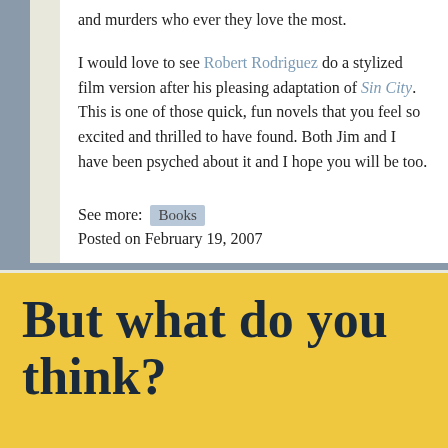and murders who ever they love the most.
I would love to see Robert Rodriguez do a stylized film version after his pleasing adaptation of Sin City. This is one of those quick, fun novels that you feel so excited and thrilled to have found. Both Jim and I have been psyched about it and I hope you will be too.
See more: Books
Posted on February 19, 2007
But what do you think?